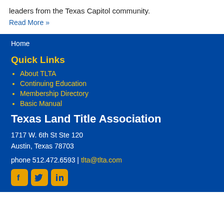leaders from the Texas Capitol community.
Read More »
Home
Quick Links
About TLTA
Continuing Education
Membership Directory
Basic Manual
Texas Land Title Association
1717 W. 6th St Ste 120
Austin, Texas 78703
phone 512.472.6593 | tlta@tlta.com
[Figure (illustration): Social media icons for Facebook, Twitter, and LinkedIn in gold/yellow color on blue background]